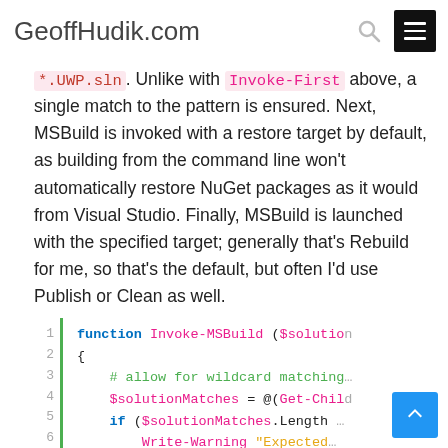GeoffHudik.com
*.UWP.sln. Unlike with Invoke-First above, a single match to the pattern is ensured. Next, MSBuild is invoked with a restore target by default, as building from the command line won't automatically restore NuGet packages as it would from Visual Studio. Finally, MSBuild is launched with the specified target; generally that's Rebuild for me, so that's the default, but often I'd use Publish or Clean as well.
[Figure (screenshot): PowerShell code block showing function Invoke-MSBuild definition with line numbers 1-10, green sidebar, syntax highlighting. Lines include: function Invoke-MSBuild ($solution..., {, # allow for wildcard matching, $solutionMatches = @(Get-Chil..., if ($solutionMatches.Length..., Write-Warning "Expected..., return, }, $sln = $solutionMatches[0]]